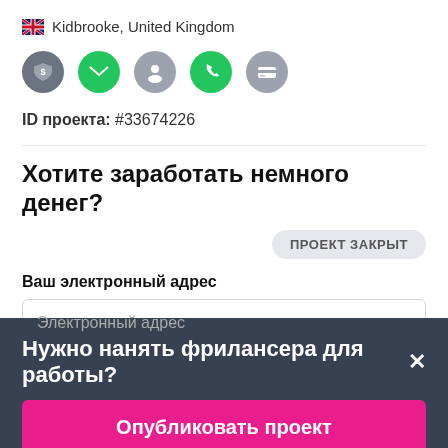🇬🇧 Kidbrooke, United Kingdom
[Figure (infographic): Row of 5 icons: shield with dollar (grey), envelope (green), person silhouette (grey), phone (green), credit card (grey)]
ID проекта: #33674226
Хотите заработать немного денег?
ПРОЕКТ ЗАКРЫТ
Ваш электронный адрес
Электронный адрес
Нужно нанять фрилансера для работы?×
Опубликовать проект